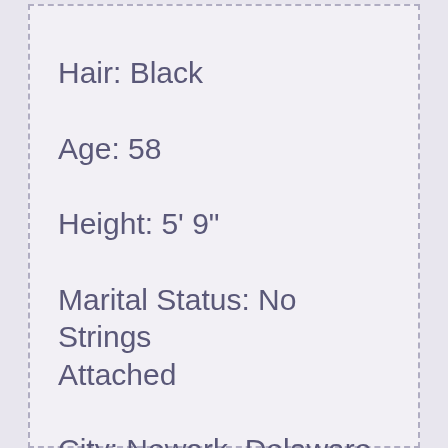Hair: Black
Age: 58
Height: 5' 9"
Marital Status: No Strings Attached
City: Newark, Delaware